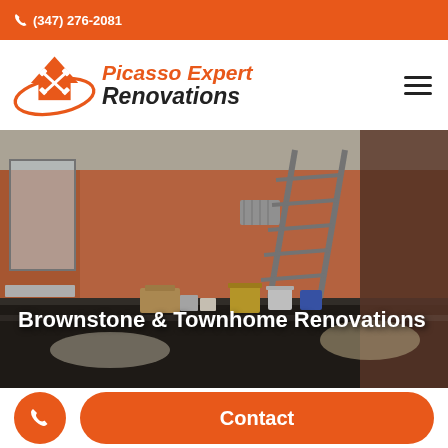(347) 276-2081
[Figure (logo): Picasso Expert Renovations logo with house/hammer icon]
[Figure (photo): Interior renovation photo showing orange walls, ladder, painting supplies and plastic sheeting on floor]
Brownstone & Townhome Renovations
Contact